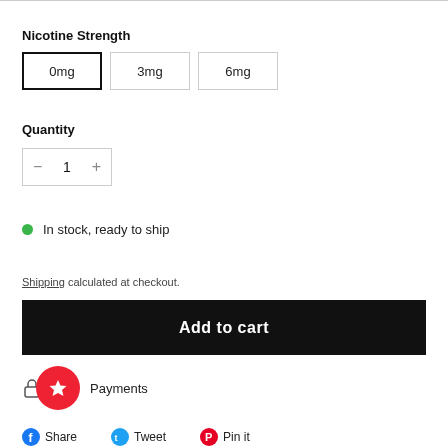Nicotine Strength
0mg (selected), 3mg, 6mg
Quantity
- 1 +
In stock, ready to ship
Shipping calculated at checkout.
Add to cart
Payments
Share  Tweet  Pin it